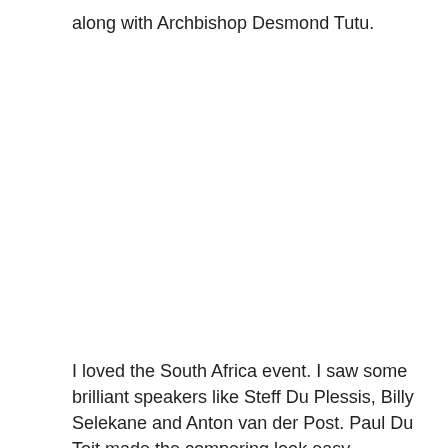along with Archbishop Desmond Tutu.
I loved the South Africa event. I saw some brilliant speakers like Steff Du Plessis, Billy Selekane and Anton van der Post. Paul Du Toit made the compering look easy